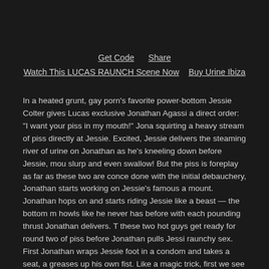Get Code    Share
Watch This LUCAS RAUNCH Scene Now    Buy Urine Ibiza
In a heated grunt, gay porn's favorite power-bottom Jessie Colter gives Lucas exclusive Jonathan Agassi a direct order: "I want your piss in my mouth!" Jona squirting a heavy stream of piss directly at Jessie. Excited, Jessie delivers the steaming river of urine on Jonathan as he's kneeling down before Jessie, mou slurp and even swallow! But the piss is foreplay as far as these two are conce done with the initial debauchery, Jonathan starts working on Jessie's famous a mount. Jonathan hops on and starts riding Jessie like a beast — the bottom m howls like he never has before with each pounding thrust Jonathan delivers. T these two hot guys get ready for round two of piss before Jonathan pulls Jessi raunchy sex. First Jonathan wraps Jessie foot in a condom and takes a seat, a greases up his own fist. Like a magic trick, first we see Jonathan's fist, and the face scrunches up in pleasure and pain as Jonathan works his hand into Jess even a surprise toward the end of a hand working its way into Jonathan — bu